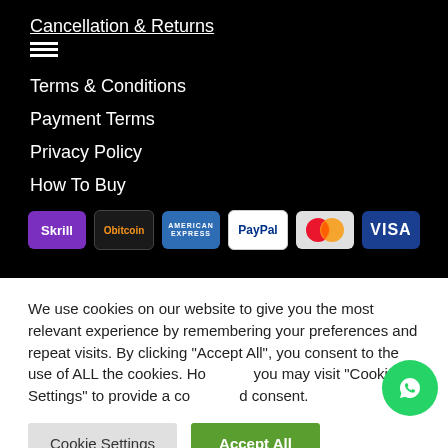Cancellation & Returns
Terms & Conditions
Payment Terms
Privacy Policy
How To Buy
[Figure (other): Payment method icons: Skrill, Obitcoin, American Express, PayPal, MasterCard, VISA]
We use cookies on our website to give you the most relevant experience by remembering your preferences and repeat visits. By clicking "Accept All", you consent to the use of ALL the cookies. However, you may visit "Cookie Settings" to provide a controlled consent.
Cookie Settings | Accept All